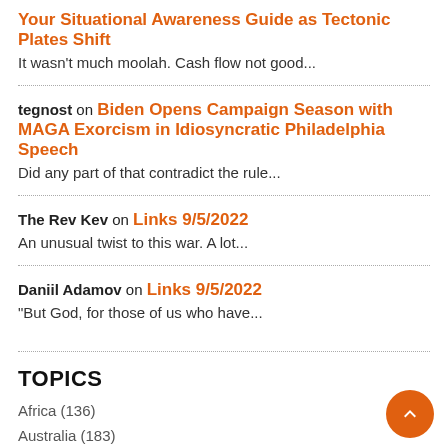Your Situational Awareness Guide as Tectonic Plates Shift
It wasn't much moolah. Cash flow not good...
tegnost on Biden Opens Campaign Season with MAGA Exorcism in Idiosyncratic Philadelphia Speech
Did any part of that contradict the rule...
The Rev Kev on Links 9/5/2022
An unusual twist to this war. A lot...
Daniil Adamov on Links 9/5/2022
"But God, for those of us who have...
TOPICS
Africa (136)
Australia (183)